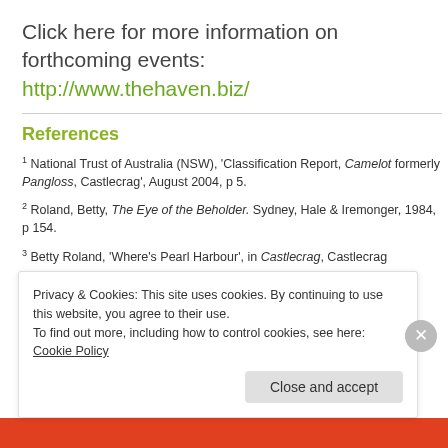Click here for more information on forthcoming events: http://www.thehaven.biz/
References
1 National Trust of Australia (NSW), 'Classification Report, Camelot formerly Pangloss, Castlecrag', August 2004, p 5.
2 Roland, Betty, The Eye of the Beholder. Sydney, Hale & Iremonger, 1984, p 154.
3 Betty Roland, 'Where's Pearl Harbour', in Castlecrag, Castlecrag
Privacy & Cookies: This site uses cookies. By continuing to use this website, you agree to their use. To find out more, including how to control cookies, see here: Cookie Policy
Close and accept